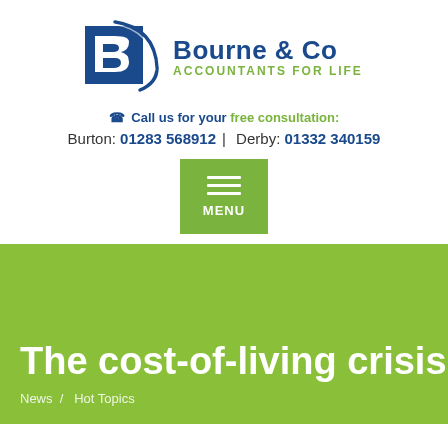[Figure (logo): Bourne & Co Accountants For Life logo — blue square with stylized B letterform and swoosh, company name in dark blue bold, tagline in green uppercase]
Call us for your free consultation:
Burton: 01283 568912 | Derby: 01332 340159
[Figure (other): Green MENU button with hamburger icon (three white horizontal lines) and MENU label in white]
The cost-of-living crisis
News / Hot Topics